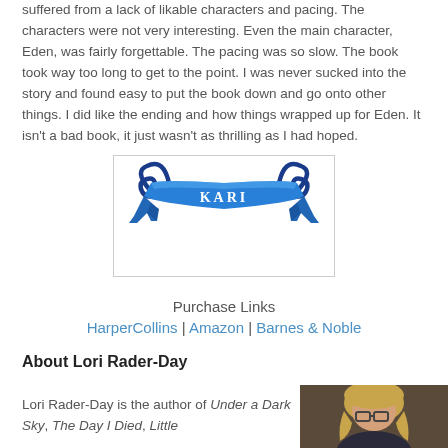suffered from a lack of likable characters and pacing.  The characters were not very interesting.  Even the main character, Eden, was fairly forgettable.  The pacing was so slow. The book took way too long to get to the point.  I was never sucked into the story and found easy to put the book down and go onto other things.  I did like the ending and how things wrapped up for Eden.  It isn't a bad book, it just wasn't as thrilling as I had hoped.
[Figure (logo): Decorative blue ribbon/banner logo with scrollwork and the text 'KARI' in white letters]
Purchase Links
HarperCollins | Amazon | Barnes & Noble
About Lori Rader-Day
Lori Rader-Day is the author of Under a Dark Sky, The Day I Died, Little
[Figure (photo): Author photo of Lori Rader-Day, a woman with blonde hair and glasses]